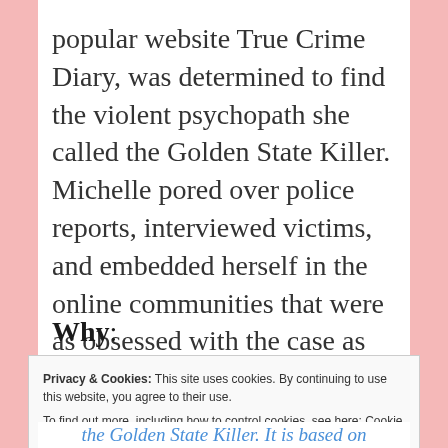popular website True Crime Diary, was determined to find the violent psychopath she called the Golden State Killer. Michelle pored over police reports, interviewed victims, and embedded herself in the online communities that were as obsessed with the case as she was.
Why:
Privacy & Cookies: This site uses cookies. By continuing to use this website, you agree to their use.
To find out more, including how to control cookies, see here: Cookie Policy
[Close and accept button]
the Golden State Killer. It is based on...